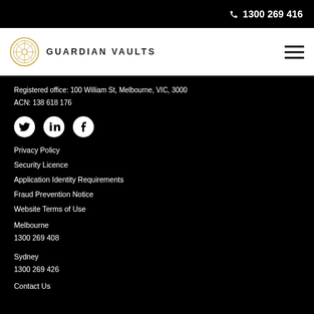📞 1300 269 416
[Figure (logo): Guardian Vaults logo with circular emblem and text GUARDIAN VAULTS]
Registered office: 100 William St, Melbourne, VIC, 3000
ACN: 138 618 176
[Figure (infographic): Social media icons: Twitter, LinkedIn, Facebook (white on black circles)]
Privacy Policy
Security Licence
Application Identity Requirements
Fraud Prevention Notice
Website Terms of Use
Melbourne
1300 269 408
Sydney
1300 269 426
Contact Us